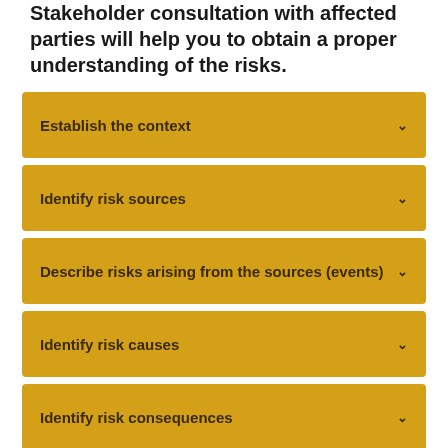Stakeholder consultation with affected parties will help you to obtain a proper understanding of the risks.
Establish the context
Identify risk sources
Describe risks arising from the sources (events)
Identify risk causes
Identify risk consequences
Identify risk likelihood
Evaluate risks